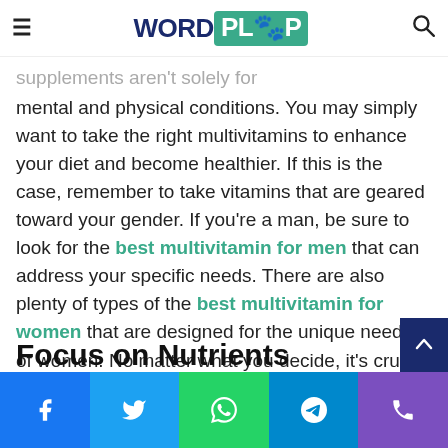WORDPLOP [logo header with hamburger menu and search icon]
supplements aren't solely for mental and physical conditions. You may simply want to take the right multivitamins to enhance your diet and become healthier. If this is the case, remember to take vitamins that are geared toward your gender. If you're a man, be sure to look for the best multivitamin for men that can address your specific needs. There are also plenty of types of the best multivitamin for women that are designed for the unique needs of women. No matter what you decide, it's crucial to be aware of your specific goals before choosing a supplement.
Focus on Nutrients